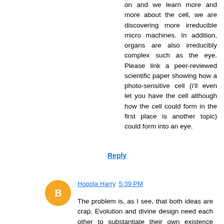on and we learn more and more about the cell, we are discovering more irreducible micro machines. In addition, organs are also irreducibly complex such as the eye. Please link a peer-reviewed scientific paper showing how a photo-sensitive cell (i'll even let you have the cell although how the cell could form in the first place is another topic) could form into an eye.
Reply
Hoopla Harry  5:39 PM
The problem is, as I see, that both ideas are crap. Evolution and divine design need each other to substantiate their own existence where, in fact, both suck.